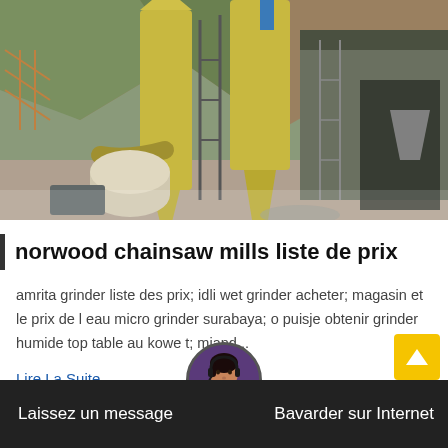[Figure (photo): Industrial facility photo showing large yellow cyclone separators/silos and machinery on a hillside construction site]
norwood chainsaw mills liste de prix
amrita grinder liste des prix; idli wet grinder acheter; magasin et le prix de l eau micro grinder surabaya; o puisje obtenir grinder humide top table au kowe t; miand...
Lire La Suite
Laissez un message   Bavarder sur Internet